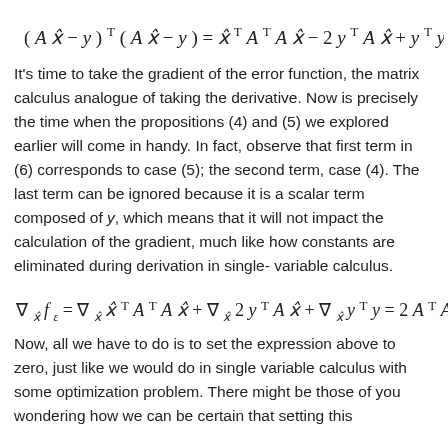It's time to take the gradient of the error function, the matrix calculus analogue of taking the derivative. Now is precisely the time when the propositions (4) and (5) we explored earlier will come in handy. In fact, observe that first term in (6) corresponds to case (5); the second term, case (4). The last term can be ignored because it is a scalar term composed of y, which means that it will not impact the calculation of the gradient, much like how constants are eliminated during derivation in single-variable calculus.
Now, all we have to do is to set the expression above to zero, just like we would do in single variable calculus with some optimization problem. There might be those of you wondering how we can be certain that setting this